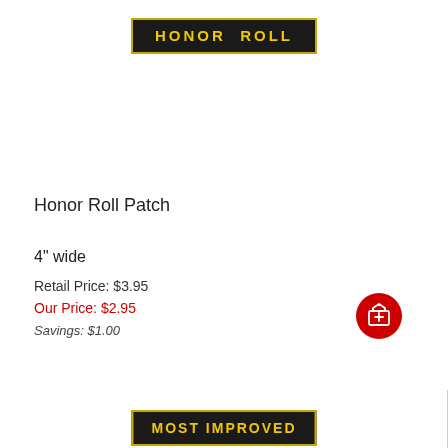[Figure (photo): Honor Roll embroidered patch — black background with yellow text and gold border]
Honor Roll Patch
4" wide
Retail Price: $3.95
Our Price: $2.95
Savings: $1.00
[Figure (illustration): Red circular add-to-cart icon with white box/gift icon]
[Figure (photo): Most Improved embroidered patch — black background with yellow text and gold border (partially visible)]